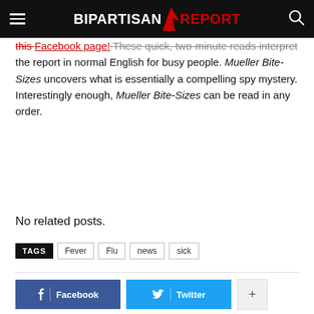BIPARTISAN REPORT
this Facebook page! These quick, two-minute reads interpret the report in normal English for busy people. Mueller Bite-Sizes uncovers what is essentially a compelling spy mystery. Interestingly enough, Mueller Bite-Sizes can be read in any order.
No related posts.
TAGS  Fever  Flu  news  sick